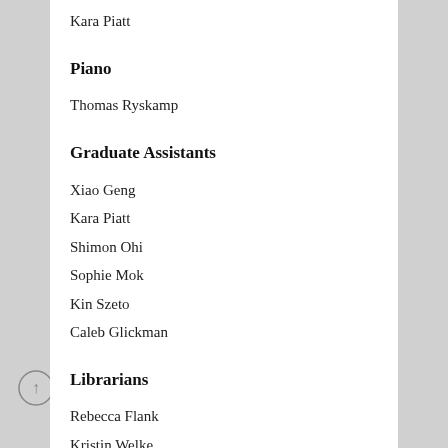Kara Piatt
Piano
Thomas Ryskamp
Graduate Assistants
Xiao Geng
Kara Piatt
Shimon Ohi
Sophie Mok
Kin Szeto
Caleb Glickman
Librarians
Rebecca Flank
Kristin Welke
Sponsors
Louise Dieterle Nippert Trust
Scholarship and Resident Artist Sponsor